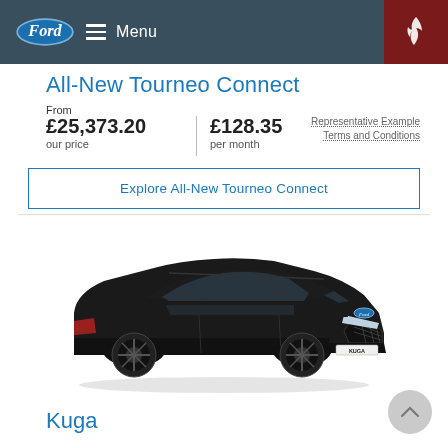Ford | Menu
All-New Tourneo Connect
From
£25,373.20 our price | £128.35 per month
Representative Example
Terms and Conditions
Explore All-New Tourneo Connect
[Figure (photo): Black Ford Kuga SUV photographed from front-left angle on white background, with KUGA badge visible on front. Car is a dark/black colour with sporty alloy wheels.]
Kuga